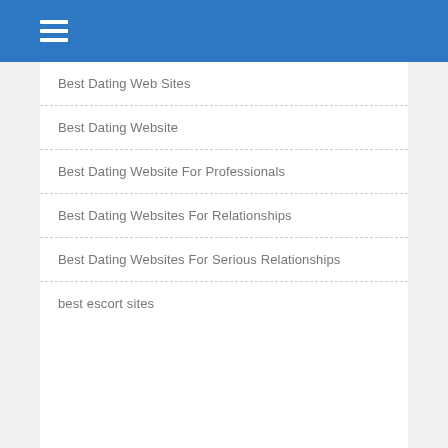Best Dating Web Sites
Best Dating Website
Best Dating Website For Professionals
Best Dating Websites For Relationships
Best Dating Websites For Serious Relationships
best escort sites